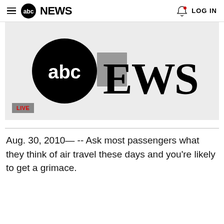abc NEWS  LOG IN
[Figure (screenshot): ABC News logo with large abc circle and NEWS text, with a grey blurred rectangle partially covering the N, with a LIVE badge in the lower left]
Aug. 30, 2010&#151; -- Ask most passengers what they think of air travel these days and you're likely to get a grimace.